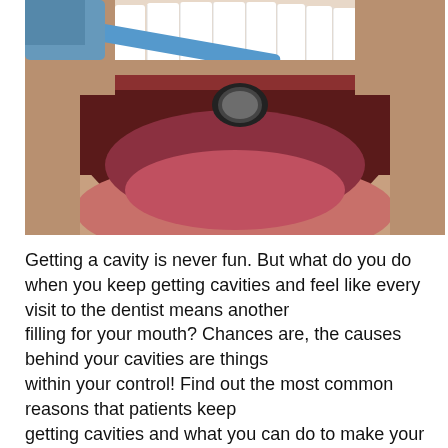[Figure (photo): Close-up photograph of a person with open mouth being examined by a dentist using a dental mirror. The patient's teeth are visible and a gloved hand holds a blue-handled dental mirror.]
Getting a cavity is never fun. But what do you do when you keep getting cavities and feel like every visit to the dentist means another filling for your mouth? Chances are, the causes behind your cavities are things within your control! Find out the most common reasons that patients keep getting cavities and what you can do to make your next visit to ... Continue Reading